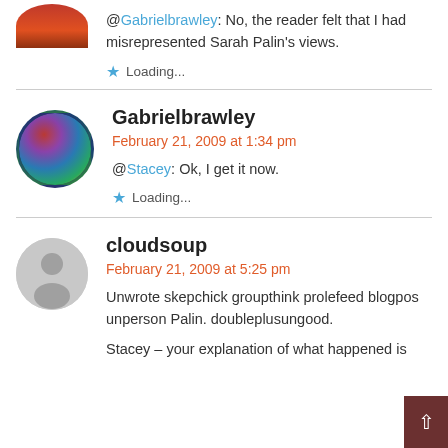@Gabrielbrawley: No, the reader felt that I had misrepresented Sarah Palin's views.
Loading...
Gabrielbrawley
February 21, 2009 at 1:34 pm
@Stacey: Ok, I get it now.
Loading...
cloudsoup
February 21, 2009 at 5:25 pm
Unwrote skepchick groupthink prolefeed blogpost unperson Palin. doubleplusungood.
Stacey – your explanation of what happened is